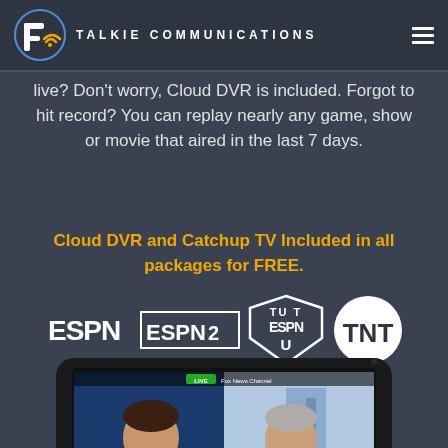TALKIE COMMUNICATIONS
live? Don't worry, Cloud DVR is included. Forgot to hit record? You can replay nearly any game, show or movie that aired in the last 7 days.
Cloud DVR and Catchup TV Included in all packages for FREE.
[Figure (logo): ESPN, ESPN 2, ESPN U, and TNT channel logos displayed in a row]
[Figure (screenshot): Tablet device showing Fox News Channel with SEN JOHN MCCAIN (R-AZ) ON CALLS FOR PRES OBAMA TO RETURN TO U.S.]